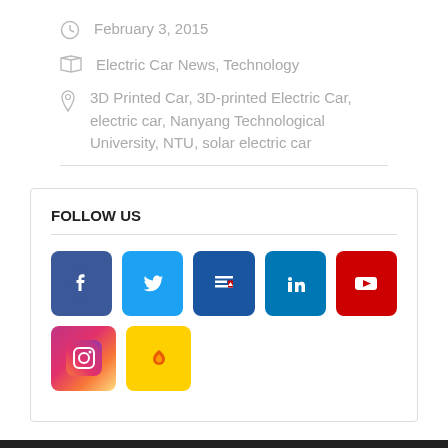February 3, 2015
Electric Car News, Technology
3D Printed Car, 3D-printed Electric Car, electric car, Nanyang Technological University, NTU, solar electric car
FOLLOW US
[Figure (infographic): Social media icons: Facebook, Twitter, Google News, LinkedIn, YouTube, Instagram, Fark]